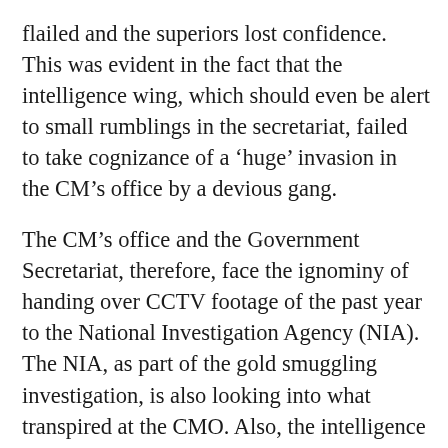flailed and the superiors lost confidence. This was evident in the fact that the intelligence wing, which should even be alert to small rumblings in the secretariat, failed to take cognizance of a 'huge' invasion in the CM's office by a devious gang.
The CM's office and the Government Secretariat, therefore, face the ignominy of handing over CCTV footage of the past year to the National Investigation Agency (NIA). The NIA, as part of the gold smuggling investigation, is also looking into what transpired at the CMO. Also, the intelligence wing also failed to detect mafia acts at a critical installation like the airport.
Here is where the role of the IB also comes into question. The Immigration wing at the airport is